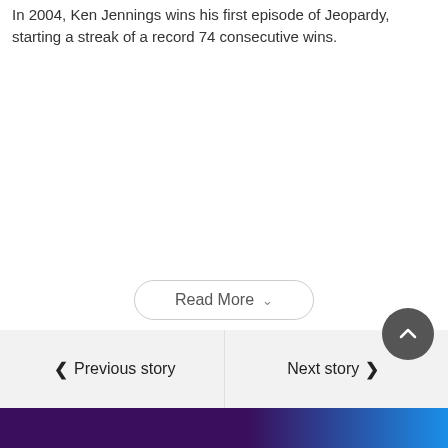In 2004, Ken Jennings wins his first episode of Jeopardy, starting a streak of a record 74 consecutive wins.
[Figure (other): Read More button with dropdown chevron, rounded pill shape]
[Figure (other): Navigation bar with Previous story (left arrow) and Next story (right arrow) buttons]
[Figure (other): Scroll to top circular dark button with upward chevron]
[Figure (other): Advertisement banner with purple to blue gradient]